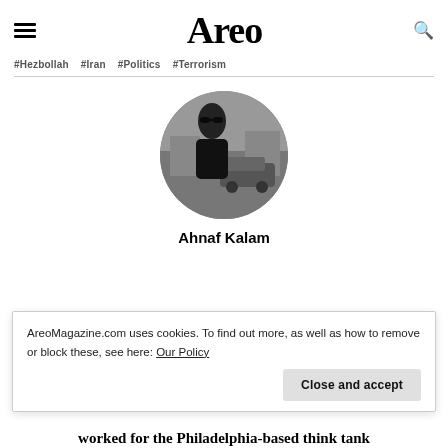Areo
#Hezbollah  #Iran  #Politics  #Terrorism
[Figure (photo): Black and white circular profile photo of Ahnaf Kalam wearing sunglasses, standing on a city street with a car in the background.]
Ahnaf Kalam
AreoMagazine.com uses cookies. To find out more, as well as how to remove or block these, see here: Our Policy
worked for the Philadelphia-based think tank